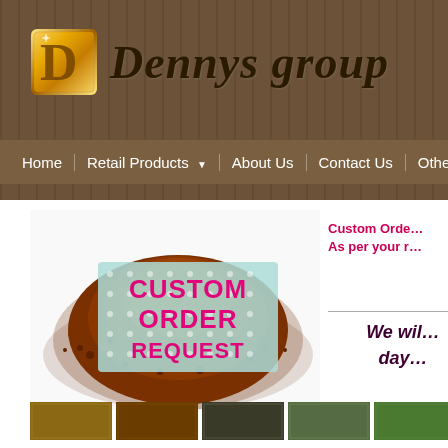[Figure (logo): Dennys group logo with golden D icon and italic serif text]
Home | Retail Products ▼ | About Us | Contact Us | Other Chan…
[Figure (photo): Custom Order Request image showing ground coffee/spice powder with text CUSTOM ORDER REQUEST on a polka-dot background]
Custom Orde…
As per your r…
We wil…
day…
[Figure (photo): Row of thumbnail product images at bottom]